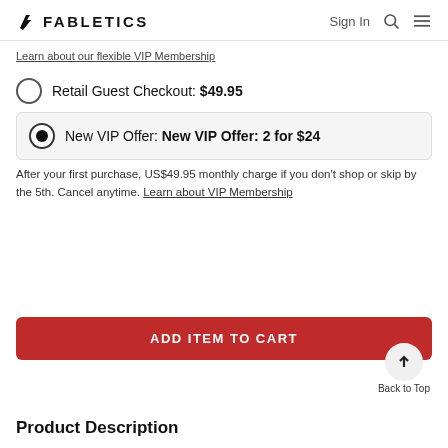FABLETICS   Sign In
Learn about our flexible VIP Membership
Retail Guest Checkout: $49.95
New VIP Offer: New VIP Offer: 2 for $24
After your first purchase, US$49.95 monthly charge if you don't shop or skip by the 5th. Cancel anytime. Learn about VIP Membership
ADD ITEM TO CART
Back to Top
Product Description